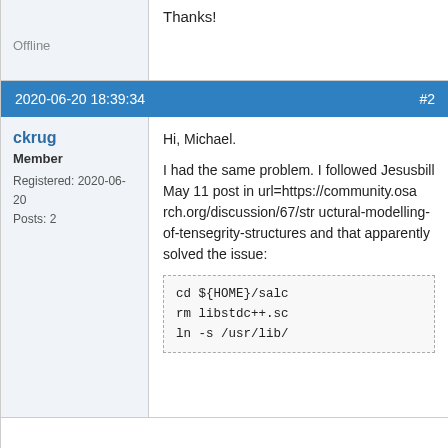Thanks!
Offline
2020-06-20 18:39:34   #2
ckrug
Member
Registered: 2020-06-20
Posts: 2
Hi, Michael.

I had the same problem. I followed Jesusbill May 11 post in url=https://community.osarch.org/discussion/67/structural-modelling-of-tensegrity-structures and that apparently solved the issue:
cd ${HOME}/salc
rm libstdc++.sc
ln -s /usr/lib/